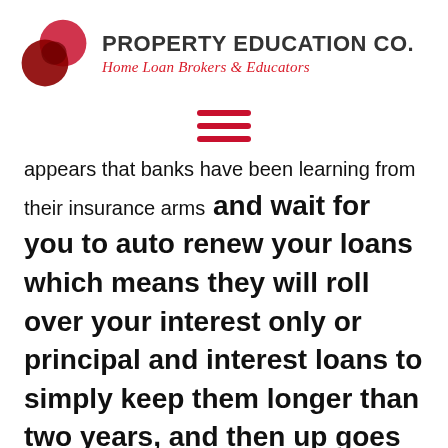[Figure (logo): Property Education Co. logo with two overlapping red circles and company name and tagline]
[Figure (other): Hamburger menu icon — three horizontal red lines]
appears that banks have been learning from their insurance arms and wait for you to auto renew your loans which means they will roll over your interest only or principal and interest loans to simply keep them longer than two years, and then up goes the interest rate! Yet at the same time